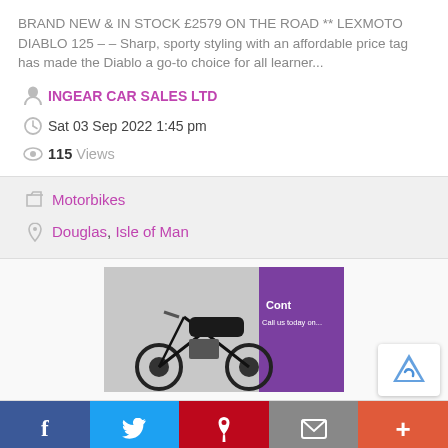BRAND NEW & IN STOCK £2579 ON THE ROAD ** LEXMOTO DIABLO 125 – – Sharp, sporty styling with an affordable price tag has made the Diablo a go-to choice for all learner...
INGEAR CAR SALES LTD
Sat 03 Sep 2022 1:45 pm
115 Views
Motorbikes
Douglas, Isle of Man
[Figure (photo): Photo of a black Lexmoto Diablo 125 motorcycle in a showroom with a purple banner partially visible reading 'Cont...']
f | Twitter bird | P | envelope | +